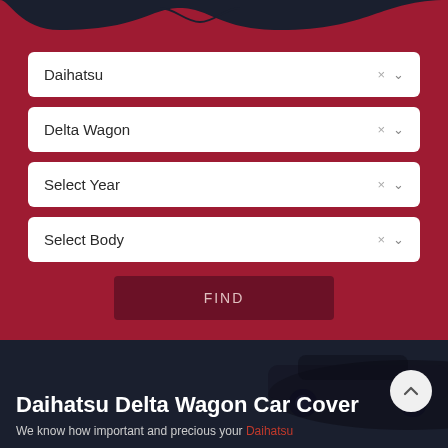[Figure (screenshot): Dark navigation bar at top with wave shape cutout]
Daihatsu
Delta Wagon
Select Year
Select Body
FIND
Daihatsu Delta Wagon Car Cover
We know how important and precious your Daihatsu